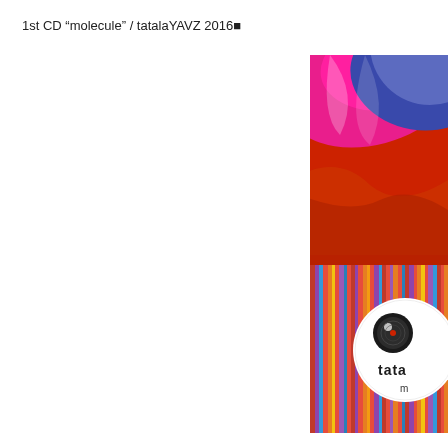1st CD “molecule” / tatalaYAVZ 2016■
[Figure (photo): Colorful CD album cover artwork showing vibrant swirling shapes in pink, blue, red, and orange with vertical stripes and a white circular badge showing 'tata' logo text and a vinyl record eye graphic]